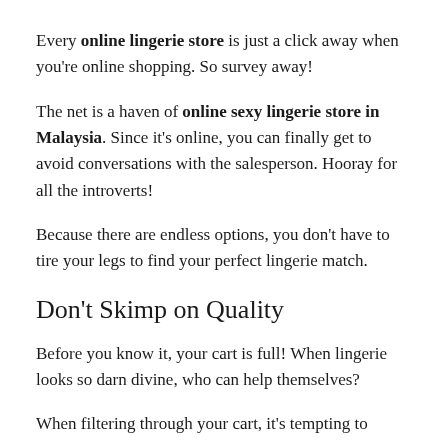Every online lingerie store is just a click away when you're online shopping. So survey away!
The net is a haven of online sexy lingerie store in Malaysia. Since it's online, you can finally get to avoid conversations with the salesperson. Hooray for all the introverts!
Because there are endless options, you don't have to tire your legs to find your perfect lingerie match.
Don't Skimp on Quality
Before you know it, your cart is full! When lingerie looks so darn divine, who can help themselves?
When filtering through your cart, it's tempting to